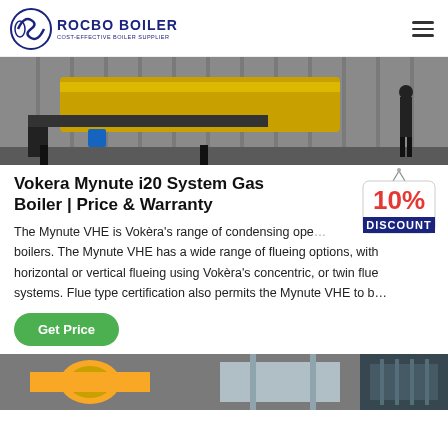ROCBO BOILER — COST-EFFECTIVE BOILER SUPPLIER
[Figure (photo): Industrial gas boiler installation showing yellow pipes and metal framework in a facility]
Vokera Mynute i20 System Gas Boiler | Price & Warranty
[Figure (other): 10% DISCOUNT badge/label graphic]
The Mynute VHE is Vokèra's range of condensing open boilers. The Mynute VHE has a wide range of flueing options, with horizontal or vertical flueing using Vokèra's concentric, or twin flue systems. Flue type certification also permits the Mynute VHE to b…
[Figure (other): Green 'Get Price' button]
[Figure (photo): Another industrial boiler installation photo at the bottom of page]